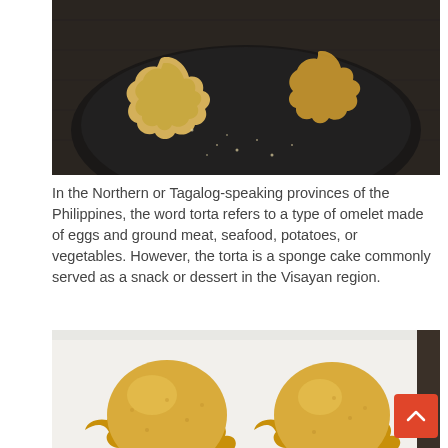[Figure (photo): Torta cakes on a dark plate, viewed from above on a dark wood surface]
In the Northern or Tagalog-speaking provinces of the Philippines, the word torta refers to a type of omelet made of eggs and ground meat, seafood, potatoes, or vegetables. However, the torta is a sponge cake commonly served as a snack or dessert in the Visayan region.
[Figure (photo): Two golden dome-shaped torta sponge cakes with scalloped edges on a white plate]